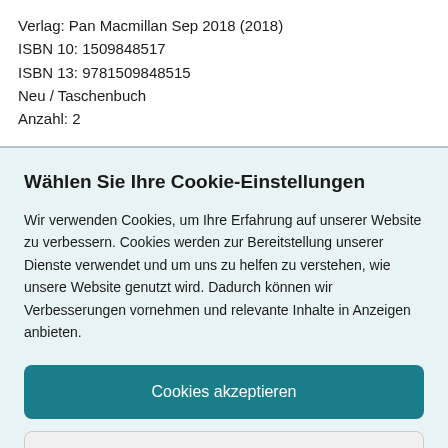Verlag: Pan Macmillan Sep 2018 (2018)
ISBN 10: 1509848517
ISBN 13: 9781509848515
Neu / Taschenbuch
Anzahl: 2
Wählen Sie Ihre Cookie-Einstellungen
Wir verwenden Cookies, um Ihre Erfahrung auf unserer Website zu verbessern. Cookies werden zur Bereitstellung unserer Dienste verwendet und um uns zu helfen zu verstehen, wie unsere Website genutzt wird. Dadurch können wir Verbesserungen vornehmen und relevante Inhalte in Anzeigen anbieten.
Cookies akzeptieren
Cookies anpassen